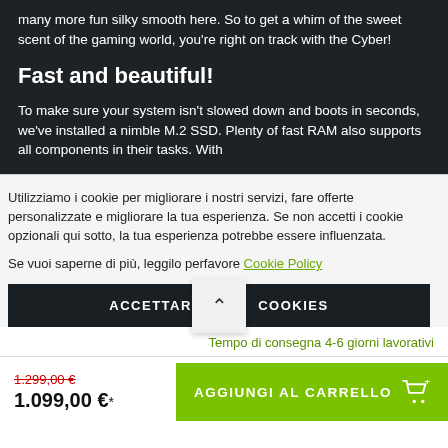many more run silky smooth here. So to get a whim of the sweet scent of the gaming world, you're right on track with the Cyber!
Fast and beautiful!
To make sure your system isn't slowed down and boots in seconds, we've installed a nimble M.2 SSD. Plenty of fast RAM also supports all components in their tasks. With
Utilizziamo i cookie per migliorare i nostri servizi, fare offerte personalizzate e migliorare la tua esperienza. Se non accetti i cookie opzionali qui sotto, la tua esperienza potrebbe essere influenzata.
Se vuoi saperne di più, leggilo perfavore Cookie Policy
ACCETTARE COOKIES
Tempo di consegna 4-6 giorni lavorativi
1.299,00 €
1.099,00 €*
AGGIUNGI AL CARRELLO